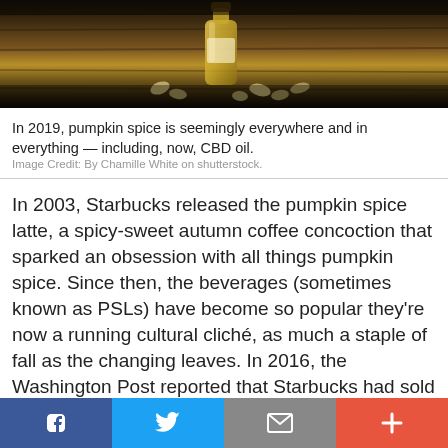[Figure (photo): Photo of a glass bottle of oil (likely CBD oil) with pumpkin seeds scattered on a wooden surface background]
In 2019, pumpkin spice is seemingly everywhere and in everything — including, now, CBD oil.
Image Credit: By Chamille White on shutterstock.
In 2003, Starbucks released the pumpkin spice latte, a spicy-sweet autumn coffee concoction that sparked an obsession with all things pumpkin spice. Since then, the beverages (sometimes known as PSLs) have become so popular they're now a running cultural cliché, as much a staple of fall as the changing leaves. In 2016, the Washington Post reported that Starbucks had sold more than 200 million pumpkin spice lattes since the drink's invention. Inspired by the PSL sensation, companies began putting pumpkin spice in everything from donuts to body lotions — and despite some backlash over the flavoring's ubiquity (pumpkin spice dish detergent anyone?), they're